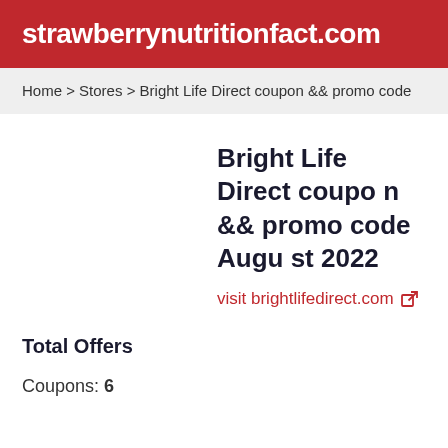strawberrynutritionfact.com
Home > Stores > Bright Life Direct coupon && promo code
Bright Life Direct coupon && promo code August 2022
visit brightlifedirect.com
Total Offers
Coupons: 6